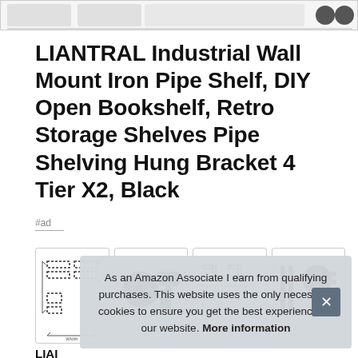[Figure (screenshot): Top strip showing partial product images at the top of the page]
LIANTRAL Industrial Wall Mount Iron Pipe Shelf, DIY Open Bookshelf, Retro Storage Shelves Pipe Shelving Hung Bracket 4 Tier X2, Black
#ad
[Figure (screenshot): Row of four product thumbnail images showing shelf dimensions, pipe fittings, bracket measurements, and hardware components]
As an Amazon Associate I earn from qualifying purchases. This website uses the only necessary cookies to ensure you get the best experience on our website. More information
LIAI